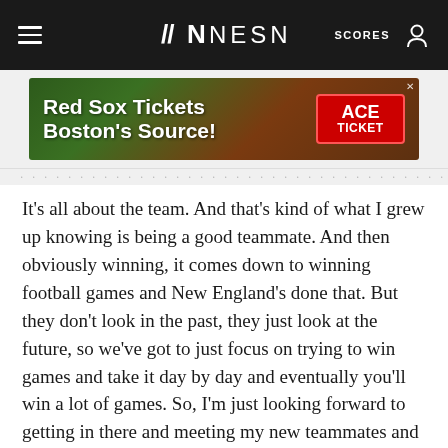NESN | SCORES
[Figure (other): Advertisement banner for Red Sox Tickets - Boston's Source! featuring ACE TICKET logo and baseball imagery]
It’s all about the team. And that’s kind of what I grew up knowing is being a good teammate. And then obviously winning, it comes down to winning football games and New England’s done that. But they don’t look in the past, they just look at the future, so we’ve got to just focus on trying to win games and take it day by day and eventually you’ll win a lot of games. So, I’m just looking forward to getting in there and meeting my new teammates and seeing what happens from there.”
Jones has only been to Boston once, when he was about 10 years old. He traveled up from Florida to board a cruise